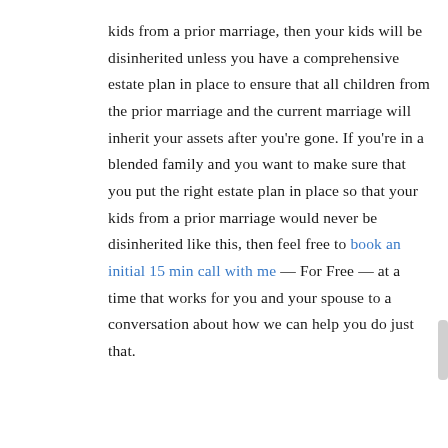kids from a prior marriage, then your kids will be disinherited unless you have a comprehensive estate plan in place to ensure that all children from the prior marriage and the current marriage will inherit your assets after you're gone. If you're in a blended family and you want to make sure that you put the right estate plan in place so that your kids from a prior marriage would never be disinherited like this, then feel free to book an initial 15 min call with me — For Free — at a time that works for you and your spouse to a conversation about how we can help you do just that.